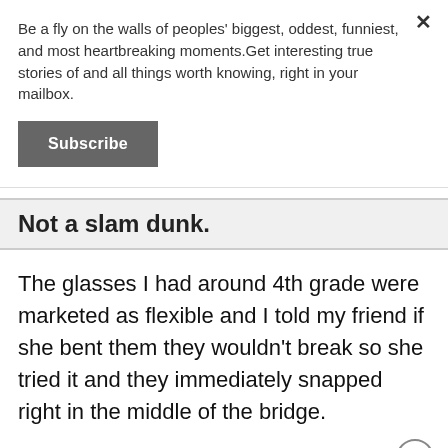Be a fly on the walls of peoples' biggest, oddest, funniest, and most heartbreaking moments.Get interesting true stories of and all things worth knowing, right in your mailbox.
Subscribe
Not a slam dunk.
The glasses I had around 4th grade were marketed as flexible and I told my friend if she bent them they wouldn't break so she tried it and they immediately snapped right in the middle of the bridge.
Also my first time trying basketball in 3rd grade someone missed a layup and when the ball came down it landed right on my eye and the